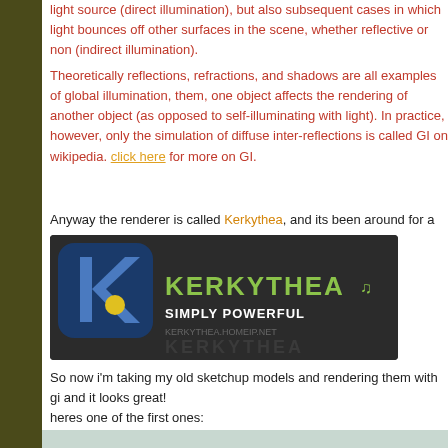light source (direct illumination), but also subsequent cases in which light bounces off other surfaces in the scene, whether reflective or non (indirect illumination).
Theoretically reflections, refractions, and shadows are all examples of global illumination, them, one object affects the rendering of another object (as opposed to self-illumination with light). In practice, however, only the simulation of diffuse inter-reflections is called GI on wikipedia. click here for more on GI.
Anyway the renderer is called Kerkythea, and its been around for a while
[Figure (logo): Kerkythea logo - dark background with blue stylized K icon and text KERKYTHEA SIMPLY POWERFUL]
So now i'm taking my old sketchup models and rendering them with gi and it looks great! heres one of the first ones:
the dune buggy
[Figure (illustration): 3D rendered dune buggy model with a human figure standing beside it, rendered using Kerkythea global illumination]